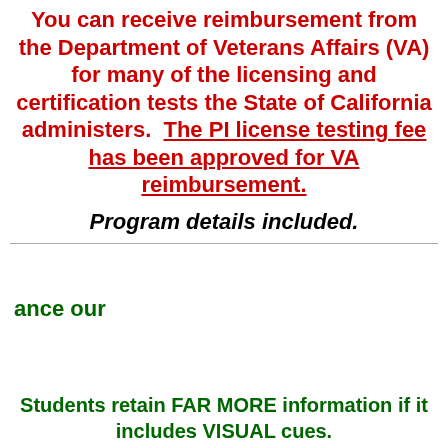You can receive reimbursement from the Department of Veterans Affairs (VA) for many of the licensing and certification tests the State of California administers. The PI license testing fee has been approved for VA reimbursement.
Program details included.
ance our
Students retain FAR MORE information if it includes VISUAL cues.